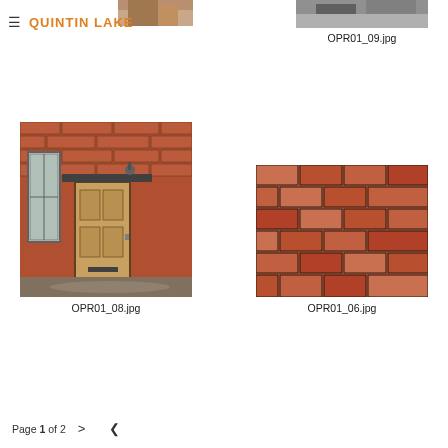≡ QUINTIN LAKE
[Figure (photo): Partial photo cropped at top, top-left area]
[Figure (photo): Partial photo of outdoor scene cropped at top, top-right area]
OPR01_09.jpg
[Figure (photo): Brick building exterior with wooden door, window, and security camera]
OPR01_08.jpg
[Figure (photo): Close-up of red/terracotta brick or tile wall pattern]
OPR01_06.jpg
Page 1 of 2  >  <